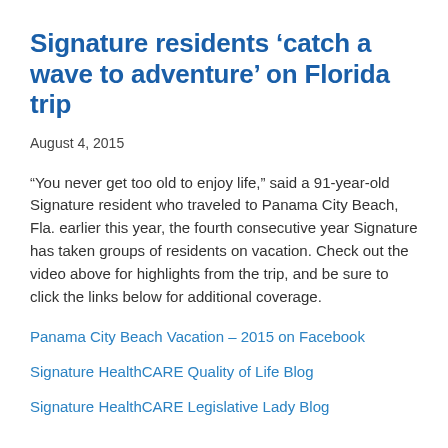Signature residents ‘catch a wave to adventure’ on Florida trip
August 4, 2015
“You never get too old to enjoy life,” said a 91-year-old Signature resident who traveled to Panama City Beach, Fla. earlier this year, the fourth consecutive year Signature has taken groups of residents on vacation. Check out the video above for highlights from the trip, and be sure to click the links below for additional coverage.
Panama City Beach Vacation – 2015 on Facebook
Signature HealthCARE Quality of Life Blog
Signature HealthCARE Legislative Lady Blog